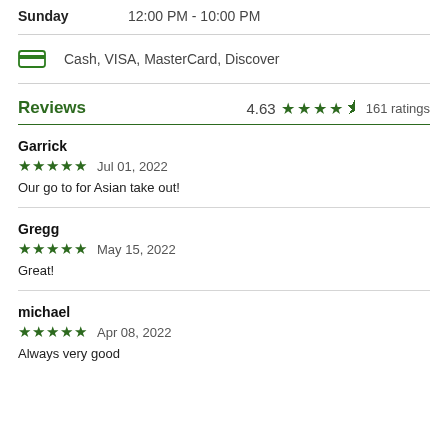Sunday   12:00 PM - 10:00 PM
Cash, VISA, MasterCard, Discover
Reviews  4.63 ★★★★½  161 ratings
Garrick
★★★★★  Jul 01, 2022
Our go to for Asian take out!
Gregg
★★★★★  May 15, 2022
Great!
michael
★★★★★  Apr 08, 2022
Always very good